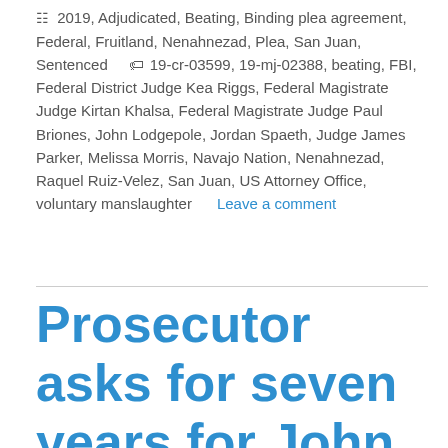🗎 2019, Adjudicated, Beating, Binding plea agreement, Federal, Fruitland, Nenahnezad, Plea, San Juan, Sentenced 🏷 19-cr-03599, 19-mj-02388, beating, FBI, Federal District Judge Kea Riggs, Federal Magistrate Judge Kirtan Khalsa, Federal Magistrate Judge Paul Briones, John Lodgepole, Jordan Spaeth, Judge James Parker, Melissa Morris, Navajo Nation, Nenahnezad, Raquel Ruiz-Velez, San Juan, US Attorney Office, voluntary manslaughter     Leave a comment
Prosecutor asks for seven years for John Lodgepole in brutal beating death of